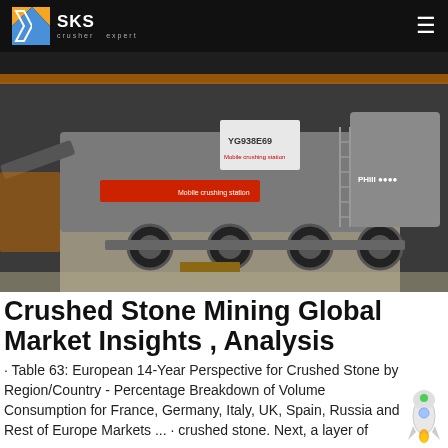SKS crusher expert
[Figure (photo): Industrial mobile crushing plant (YG938E69) on wheeled trailer inside a factory/warehouse building. Large grey and orange machinery.]
Crushed Stone Mining Global Market Insights , Analysis
· Table 63: European 14-Year Perspective for Crushed Stone by Region/Country - Percentage Breakdown of Volume Consumption for France, Germany, Italy, UK, Spain, Russia and Rest of Europe Markets ... · crushed stone. Next, a layer of